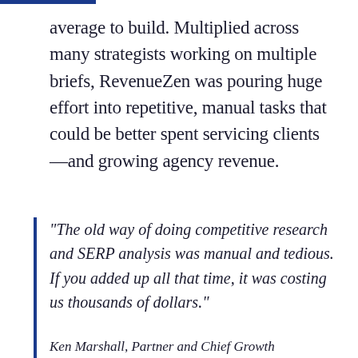average to build. Multiplied across many strategists working on multiple briefs, RevenueZen was pouring huge effort into repetitive, manual tasks that could be better spent servicing clients—and growing agency revenue.
"The old way of doing competitive research and SERP analysis was manual and tedious. If you added up all that time, it was costing us thousands of dollars."
Ken Marshall, Partner and Chief Growth